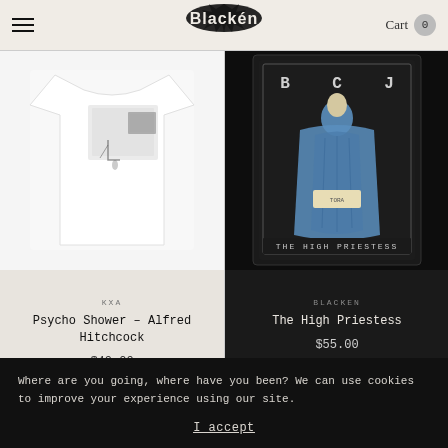Blacken — Cart 0
[Figure (photo): White t-shirt with minimal print — Psycho Shower Alfred Hitchcock design]
[Figure (photo): The High Priestess tarot card print on black background with blue illustration]
KXA
Psycho Shower – Alfred Hitchcock
$40.00
BLACKEN
The High Priestess
$55.00
Where are you going, where have you been? We can use cookies to improve your experience using our site.
I accept